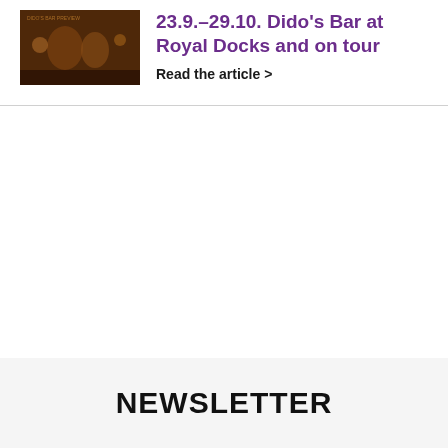[Figure (photo): Small thumbnail image showing a dark, warm-toned scene with figures, likely a theatrical or artistic promotional image.]
23.9.–29.10. Dido's Bar at Royal Docks and on tour
Read the article >
NEWSLETTER